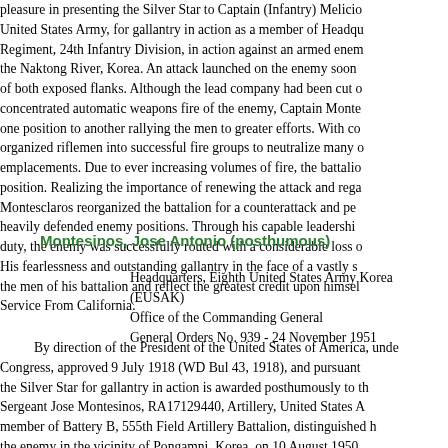pleasure in presenting the Silver Star to Captain (Infantry) Melicio... United States Army, for gallantry in action as a member of Headquarters Regiment, 24th Infantry Division, in action against an armed enemy near the Naktong River, Korea. An attack launched on the enemy soon exposed both flanks. Although the lead company had been cut off by concentrated automatic weapons fire of the enemy, Captain Montesclaros moved from one position to another rallying the men to greater efforts. With considerable skill organized riflemen into successful fire groups to neutralize many of the enemy emplacements. Due to ever increasing volumes of fire, the battalion withdrew to a position. Realizing the importance of renewing the attack and regaining the ground, Montesclaros reorganized the battalion for a counterattack and personally led it against the heavily defended enemy positions. Through his capable leadership and devotion to duty, the enemy was successfully routed with a considerable loss of men and equipment. His fearlessness and outstanding gallantry in the face of a vastly superior force inspired the men of his battalion and reflect the greatest credit upon himself and the Military Service From California.
Montesinos, Jose Antonio (posthumous)
Headquarters, Eighth United States Army Korea (EUSAK)
Office of the Commanding General
General Orders No. 939 - 24 November 1951
By direction of the President of the United States of America, under the Act of Congress, approved 9 July 1918 (WD Bul 43, 1918), and pursuant to authority, the Silver Star for gallantry in action is awarded posthumously to the following: Sergeant Jose Montesinos, RA17129440, Artillery, United States Army, a member of Battery B, 555th Field Artillery Battalion, distinguished himself against the enemy in the vicinity of Pongamni, Korea, on 10 August 1950. When his unit were attacked by a numerically superior and fanatically determined enemy force, Sergeant Montesinos showed that they were to be determined...